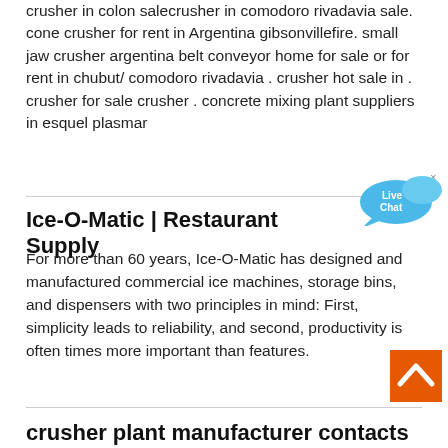crusher in colon salecrusher in comodoro rivadavia sale. cone crusher for rent in Argentina gibsonvillefire. small jaw crusher argentina belt conveyor home for sale or for rent in chubut/ comodoro rivadavia . crusher hot sale in . crusher for sale crusher . concrete mixing plant suppliers in esquel plasmar
[Figure (illustration): Live Chat speech bubble widget in blue]
Ice-O-Matic | Restaurant Supply
For more than 60 years, Ice-O-Matic has designed and manufactured commercial ice machines, storage bins, and dispensers with two principles in mind: First, simplicity leads to reliability, and second, productivity is often times more important than features.
[Figure (illustration): Orange back-to-top arrow button]
crusher plant manufacturer contacts